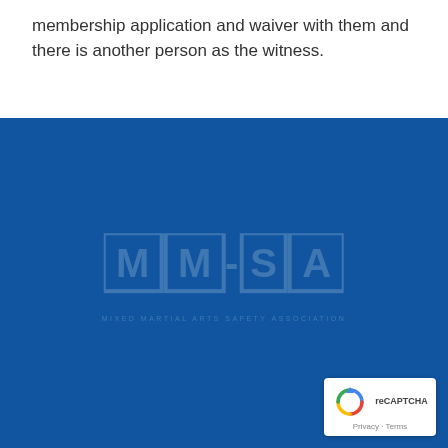membership application and waiver with them and there is another person as the witness.
[Figure (logo): MMSA (Mixed Martial Arts Safety Association or similar) watermark logo in blue on dark blue background, with organization name text below]
[Figure (logo): Google reCAPTCHA badge with recycling arrow icon and 'Privacy - Terms' text]